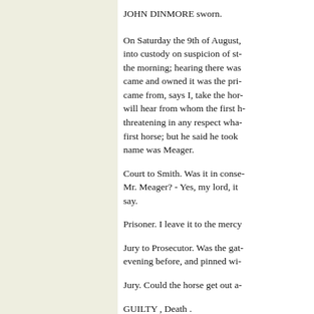JOHN DINMORE sworn.
On Saturday the 9th of August, into custody on suspicion of st- the morning; hearing there was came and owned it was the pri- came from, says I, take the hor- will hear from whom the first h- threatening in any respect wha- first horse; but he said he took name was Meager.
Court to Smith. Was it in conse- Mr. Meager? - Yes, my lord, it say.
Prisoner. I leave it to the mercy
Jury to Prosecutor. Was the gat- evening before, and pinned wi-
Jury. Could the horse get out a-
GUILTY , Death .
Tried by the second Middlesex